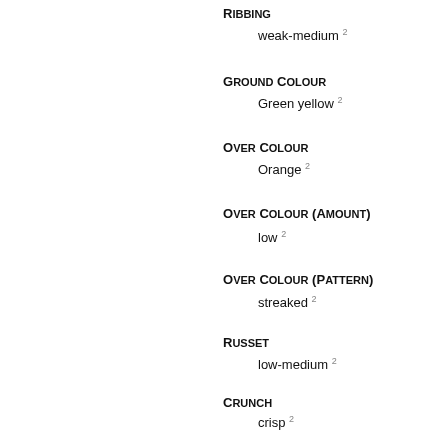Ribbing
weak-medium 2
Ground Colour
Green yellow 2
Over Colour
Orange 2
Over Colour (Amount)
low 2
Over Colour (Pattern)
streaked 2
Russet
low-medium 2
Crunch
crisp 2
Coarseness
fine 2